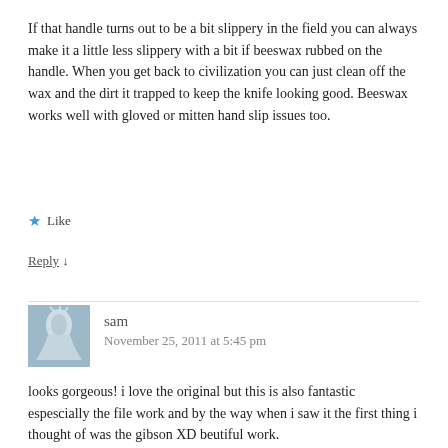If that handle turns out to be a bit slippery in the field you can always make it a little less slippery with a bit if beeswax rubbed on the handle. When you get back to civilization you can just clean off the wax and the dirt it trapped to keep the knife looking good. Beeswax works well with gloved or mitten hand slip issues too.
★ Like
Reply ↓
sam
November 25, 2011 at 5:45 pm
looks gorgeous! i love the original but this is also fantastic espescially the file work and by the way when i saw it the first thing i thought of was the gibson XD beutiful work.